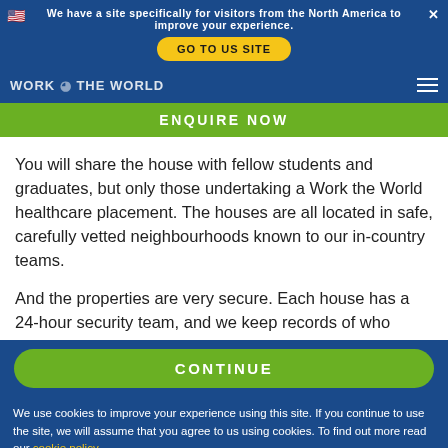We have a site specifically for visitors from the North America to improve your experience. GO TO US SITE
You will share the house with fellow students and graduates, but only those undertaking a Work the World healthcare placement. The houses are all located in safe, carefully vetted neighbourhoods known to our in-country teams.
And the properties are very secure. Each house has a 24-hour security team, and we keep records of who
CONTINUE
We use cookies to improve your experience using this site. If you continue to use the site, we will assume that you agree to us using cookies. To find out more read our cookie policy.